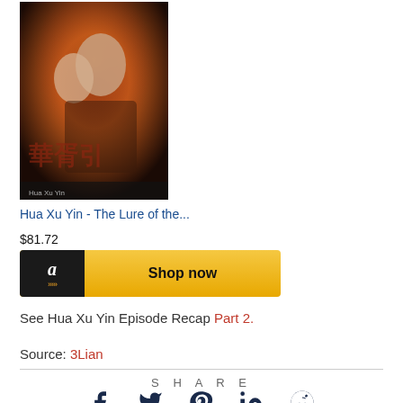[Figure (photo): Product image of Hua Xu Yin - The Lure of the... DVD/Blu-ray cover showing Chinese drama actors]
Hua Xu Yin - The Lure of the...
$81.72
[Figure (other): Amazon Shop now button with Amazon logo]
See Hua Xu Yin Episode Recap Part 2.
Source: 3Lian
SHARE
[Figure (other): Social share icons: Facebook, Twitter, Pinterest, LinkedIn, Reddit]